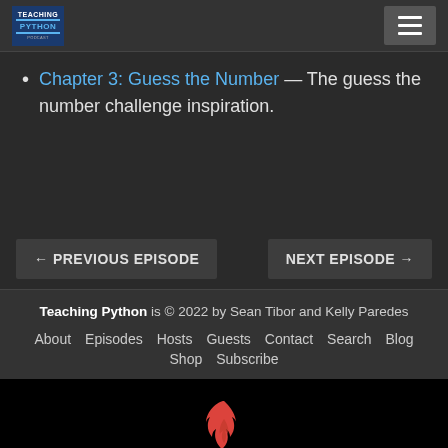Teaching Python
Chapter 3: Guess the Number — The guess the number challenge inspiration.
← PREVIOUS EPISODE    NEXT EPISODE →
Teaching Python is © 2022 by Sean Tibor and Kelly Paredes. About Episodes Hosts Guests Contact Search Blog Shop Subscribe
[Figure (logo): Fireside flame logo in red/coral color]
Powered by Fireside